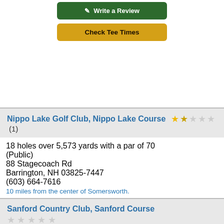[Figure (other): Write a Review button (dark green) at top]
[Figure (other): Check Tee Times button (golden yellow) at top]
Nippo Lake Golf Club, Nippo Lake Course ★✩✩✩✩ (1)
18 holes over 5,573 yards with a par of 70 (Public)
88 Stagecoach Rd
Barrington, NH 03825-7447
(603) 664-7616
10 miles from the center of Somersworth.
[Figure (other): Write a Review button (dark green)]
[Figure (other): Check Tee Times button (golden yellow)]
Sanford Country Club, Sanford Course ✩✩✩✩✩
18 holes over 6,666 yards with a par of 72 (Public)